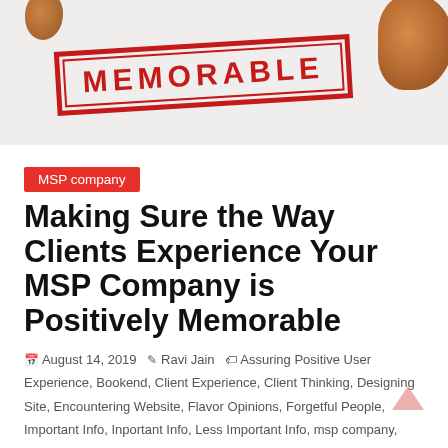[Figure (photo): Hero image showing a red rubber stamp with the word MEMORABLE in bold capital letters, slightly rotated, on a light background with orange/brown shapes in corners suggesting objects]
MSP company
Making Sure the Way Clients Experience Your MSP Company is Positively Memorable
August 14, 2019  Ravi Jain  Assuring Positive User Experience, Bookend, Client Experience, Client Thinking, Designing Site, Encountering Website, Flavor Opinions, Forgetful People, Important Info, Inportant Info, Less Important Info, msp company, Optimal UX, Overwhelm Users, positive experience, Positive